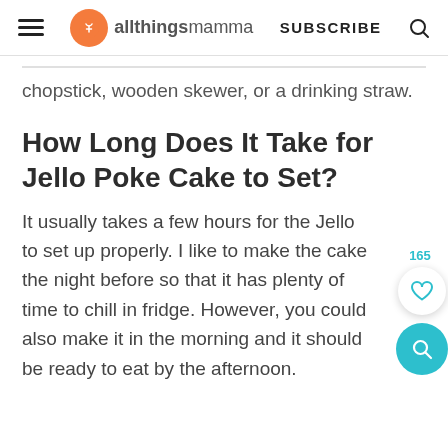allthingsmamma | SUBSCRIBE
chopstick, wooden skewer, or a drinking straw.
How Long Does It Take for Jello Poke Cake to Set?
It usually takes a few hours for the Jello to set up properly. I like to make the cake the night before so that it has plenty of time to chill in fridge. However, you could also make it in the morning and it should be ready to eat by the afternoon.